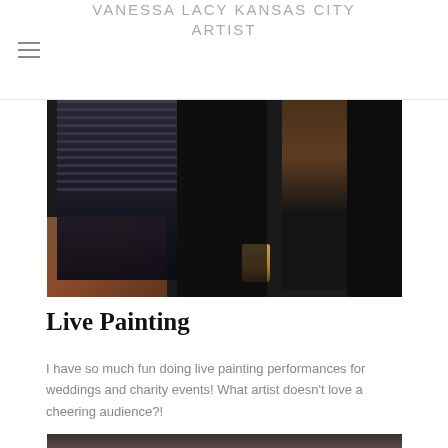VANESSA LACY KANSAS CITY ARTIST
[Figure (photo): Lower body of a person in a striped dark dress/skirt standing near a wooden easel with black fabric draping, on a wood floor; a jar visible at bottom center]
Live Painting
I have so much fun doing live painting performances for weddings and charity events! What artist doesn't love a cheering audience?!
[Figure (photo): Partial view of a second photograph at the bottom of the page, dark tones visible]